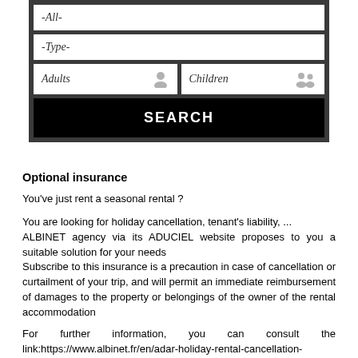[Figure (screenshot): Search widget UI with dropdown fields for -All-, -Type-, Adults, Children inputs and a SEARCH button on dark background]
Optional insurance
You've just rent a seasonal rental ?
You are looking for holiday cancellation, tenant's liability, ... ALBINET agency via its ADUCIEL website proposes to you a suitable solution for your needs Subscribe to this insurance is a precaution in case of cancellation or curtailment of your trip, and will permit an immediate reimbursement of damages to the property or belongings of the owner of the rental accommodation
For further information, you can consult the link:https://www.albinet.fr/en/adar-holiday-rental-cancellation-15000/.